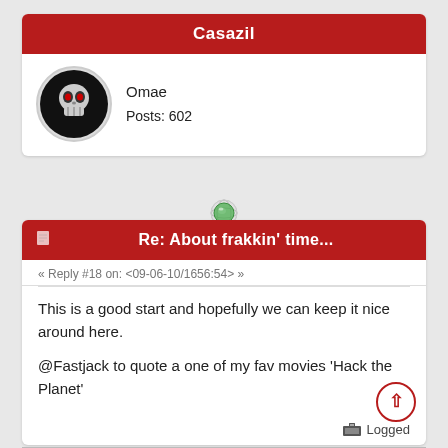Casazil
Omae
Posts: 602
[Figure (other): Globe/world icon indicating online status]
Re: About frakkin' time...
« Reply #18 on: <09-06-10/1656:54> »
This is a good start and hopefully we can keep it nice around here.

@Fastjack to quote a one of my fav movies 'Hack the Planet'
Logged